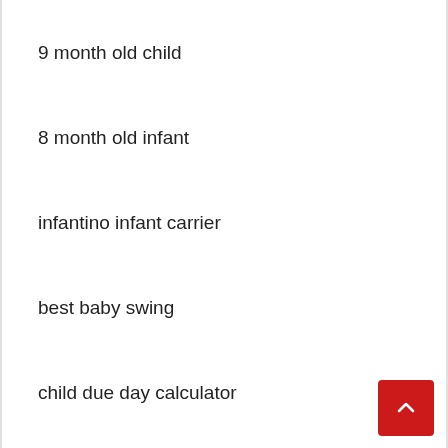9 month old child
8 month old infant
infantino infant carrier
best baby swing
child due day calculator
infant weight percentile calculator
roasted infant potatoes
child shark track
bountiful child